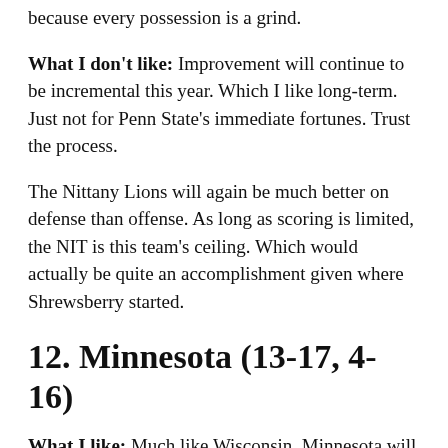because every possession is a grind.
What I don't like: Improvement will continue to be incremental this year. Which I like long-term. Just not for Penn State's immediate fortunes. Trust the process.
The Nittany Lions will again be much better on defense than offense. As long as scoring is limited, the NIT is this team's ceiling. Which would actually be quite an accomplishment given where Shrewsberry started.
12. Minnesota (13-17, 4-16)
What I like: Much like Wisconsin, Minnesota will have a pair of very watchable players in wing Jamison Battle and North Carolina transfer big man Dawson Garcia.